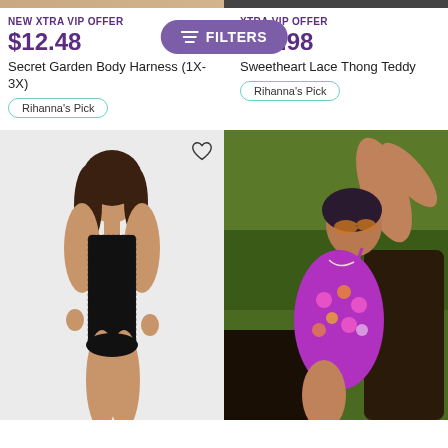[Figure (photo): Top strip showing partial product images from previous scroll position]
NEW XTRA VIP OFFER
$12.48
[Figure (other): Purple Filters button with slider icon overlay]
XTRA VIP OFFER
$29.98
Secret Garden Body Harness (1X-3X)
Sweetheart Lace Thong Teddy
Rihanna's Pick
Rihanna's Pick
[Figure (photo): Model wearing black lace bodysuit against white background, with heart/wishlist icon in top right corner]
[Figure (photo): Model wearing purple floral lace teddy, reclining in outdoor chair with green foliage background]